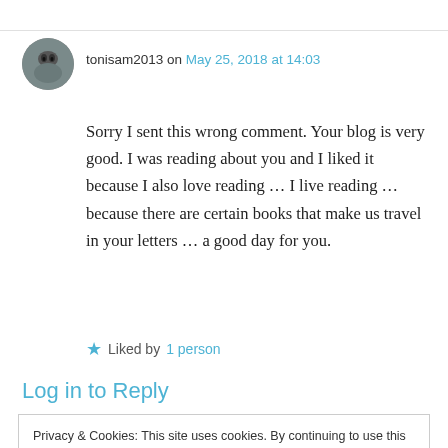tonisam2013 on May 25, 2018 at 14:03
Sorry I sent this wrong comment. Your blog is very good. I was reading about you and I liked it because I also love reading … I live reading … because there are certain books that make us travel in your letters … a good day for you.
★ Liked by 1 person
Log in to Reply
Privacy & Cookies: This site uses cookies. By continuing to use this website, you agree to their use. To find out more, including how to control cookies, see here: Cookie Policy